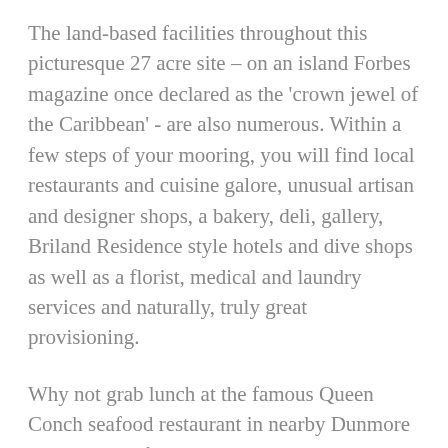The land-based facilities throughout this picturesque 27 acre site – on an island Forbes magazine once declared as the 'crown jewel of the Caribbean' - are also numerous. Within a few steps of your mooring, you will find local restaurants and cuisine galore, unusual artisan and designer shops, a bakery, deli, gallery, Briland Residence style hotels and dive shops as well as a florist, medical and laundry services and naturally, truly great provisioning.
Why not grab lunch at the famous Queen Conch seafood restaurant in nearby Dunmore Town, where fisherman drop their day's catch, before heading off on a bonefish fishing trip or a wander around the many cool boutiques. You can even...